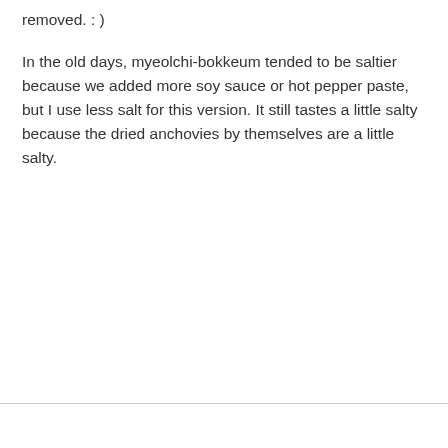removed. : )
In the old days, myeolchi-bokkeum tended to be saltier because we added more soy sauce or hot pepper paste, but I use less salt for this version. It still tastes a little salty because the dried anchovies by themselves are a little salty.